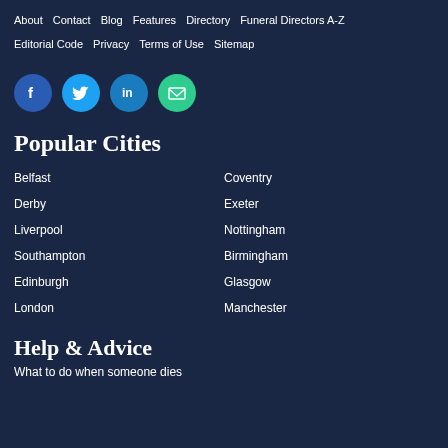About · Contact · Blog · Features · Directory · Funeral Directors A-Z · Editorial Code · Privacy · Terms of Use · Sitemap
[Figure (infographic): Social media icons: Facebook (blue circle with f), Twitter (light blue circle with bird), LinkedIn (blue circle with in), Email (green circle with envelope)]
Popular Cities
Belfast
Coventry
Derby
Exeter
Liverpool
Nottingham
Southampton
Birmingham
Edinburgh
Glasgow
London
Manchester
Help & Advice
What to do when someone dies